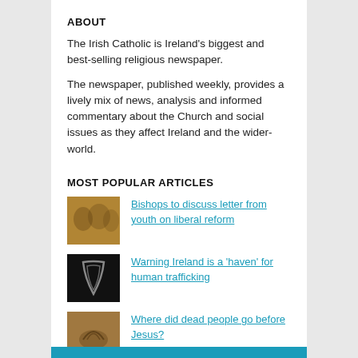ABOUT
The Irish Catholic is Ireland's biggest and best-selling religious newspaper.
The newspaper, published weekly, provides a lively mix of news, analysis and informed commentary about the Church and social issues as they affect Ireland and the wider-world.
MOST POPULAR ARTICLES
Bishops to discuss letter from youth on liberal reform
Warning Ireland is a 'haven' for human trafficking
Where did dead people go before Jesus?